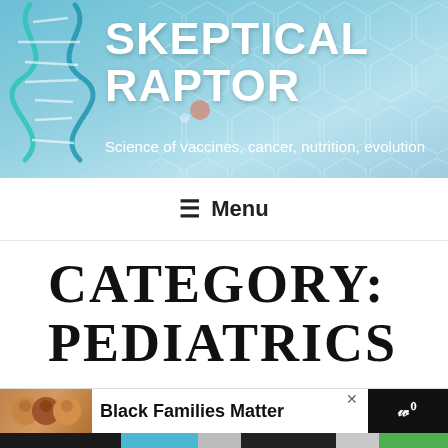[Figure (screenshot): Website header banner with teal/blue gradient background featuring DNA helix graphic on left and hexagon pattern on right]
SKEPTICAL RAPTOR
Science of vaccines, cancer, nutrition, evolution
≡ Menu
CATEGORY: PEDIATRICS
[Figure (photo): Advertisement banner showing smiling family with text 'Black Families Matter']